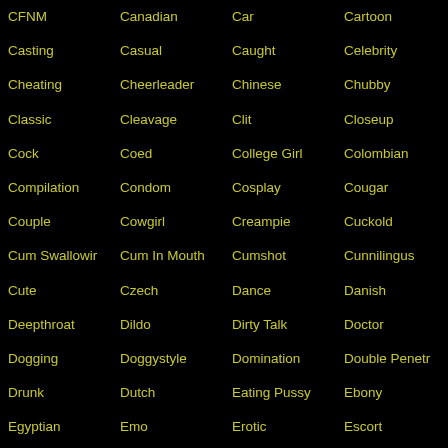CFNM
Canadian
Car
Cartoon
Casting
Casual
Caught
Celebrity
Cheating
Cheerleader
Chinese
Chubby
Classic
Cleavage
Clit
Closeup
Cock
Coed
College Girl
Colombian
Compilation
Condom
Cosplay
Cougar
Couple
Cowgirl
Creampie
Cuckold
Cum Swallowing
Cum In Mouth
Cumshot
Cunnilingus
Cute
Czech
Dance
Danish
Deepthroat
Dildo
Dirty Talk
Doctor
Dogging
Doggystyle
Domination
Double Penetration
Drunk
Dutch
Eating Pussy
Ebony
Egyptian
Emo
Erotic
Escort
Ethnic
European
Exhibitionist
Exposed